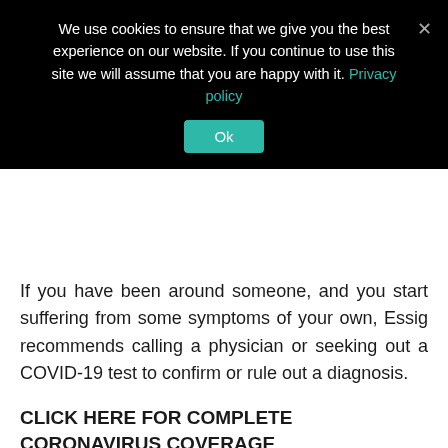We use cookies to ensure that we give you the best experience on our website. If you continue to use this site we will assume that you are happy with it. Privacy policy
Ok
If you have been around someone, and you start suffering from some symptoms of your own, Essig recommends calling a physician or seeking out a COVID-19 test to confirm or rule out a diagnosis.
CLICK HERE FOR COMPLETE CORONAVIRUS COVERAGE
And while the CDC has already sent out an advisory regarding an uptick in RSV cases, some are speculating there could be in an increase in colds as well, but Essig said it's hard to predict because